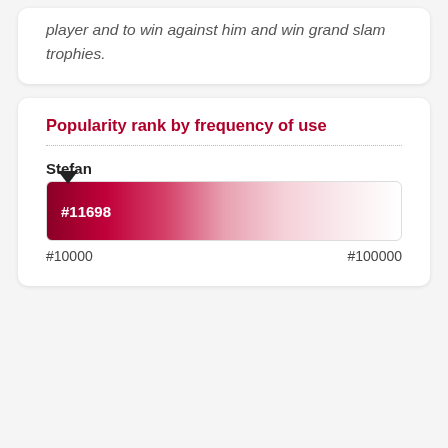player and to win against him and win grand slam trophies.
Popularity rank by frequency of use
[Figure (other): A horizontal gradient bar from dark red (left) to light pink/white (right), with a downward triangle marker near the left end indicating rank #11698. Below the bar are axis labels #10000 (left) and #100000 (right). Above the bar is the name label 'Stefan'.]